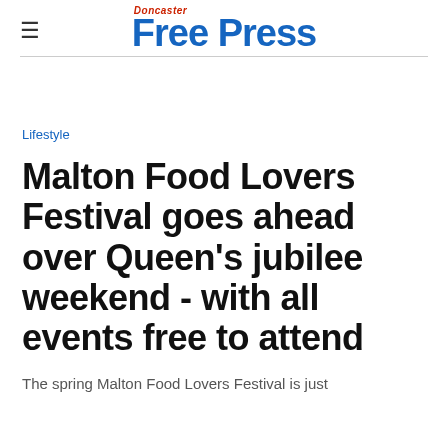Doncaster Free Press
Lifestyle
Malton Food Lovers Festival goes ahead over Queen's jubilee weekend - with all events free to attend
The spring Malton Food Lovers Festival is just